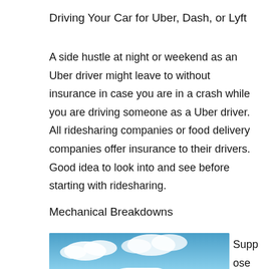Driving Your Car for Uber, Dash, or Lyft
A side hustle at night or weekend as an Uber driver might leave to without insurance in case you are in a crash while you are driving someone as a Uber driver. All ridesharing companies or food delivery companies offer insurance to their drivers. Good idea to look into and see before starting with ridesharing.
Mechanical Breakdowns
[Figure (photo): A white BMW sedan driving on a road with a blue sky and clouds in the background, with dust or smoke visible near the rear tires.]
Suppose you expe